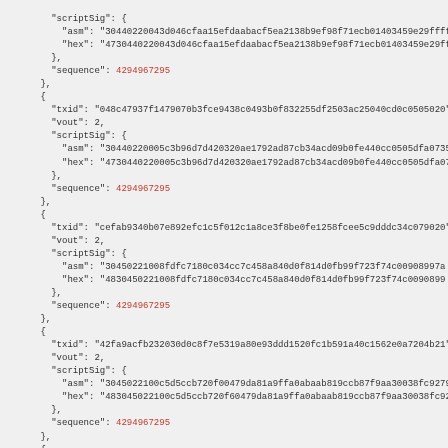JSON code block showing Bitcoin transaction scriptSig data with txid, vout, scriptSig (asm, hex), and sequence fields for multiple transactions